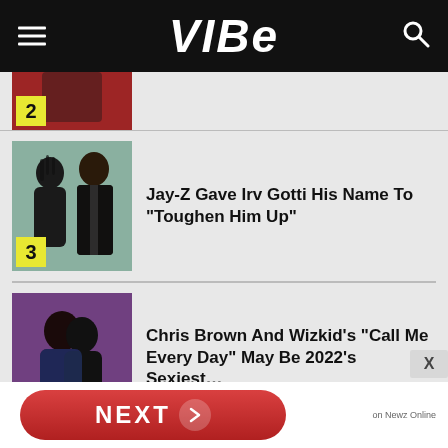VIBE
[Figure (photo): Partial photo with number badge 2, cropped at top]
[Figure (photo): Jay-Z and Irv Gotti photo composite, number badge 3]
Jay-Z Gave Irv Gotti His Name To “Toughen Him Up”
[Figure (photo): Chris Brown and Wizkid photo, number badge 4]
Chris Brown And Wizkid’s “Call Me Every Day” May Be 2022’s Sexiest…
[Figure (photo): Partial photo at bottom, item 5]
NEXT on Newz Online